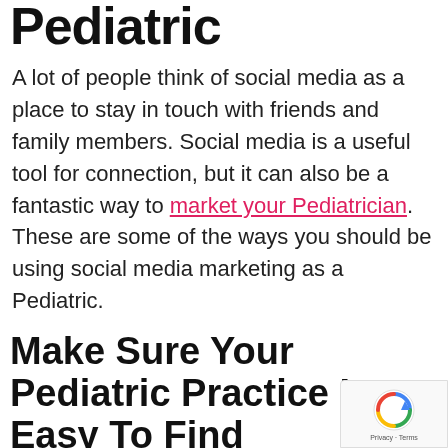Pediatric
A lot of people think of social media as a place to stay in touch with friends and family members. Social media is a useful tool for connection, but it can also be a fantastic way to market your Pediatrician. These are some of the ways you should be using social media marketing as a Pediatric.
Make Sure Your Pediatric Practice Is Easy To Find